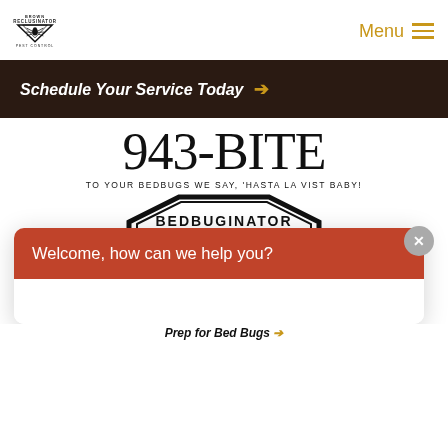[Figure (logo): Brown Reclusinator Pest Control logo with spider and downward-pointing triangles]
Menu ≡
[Figure (infographic): Dark brown CTA banner with text 'Schedule Your Service Today →']
[Figure (infographic): 943-BITE phone number in large serif font with tagline 'TO YOUR BEDBUGS WE SAY, HASTA LA VIST BABY!' and Bedbuginator badge logo]
[Figure (screenshot): Chat widget overlay with orange header 'Welcome, how can we help you?' and message input area 'Write your message...']
Prep for Bed Bugs →